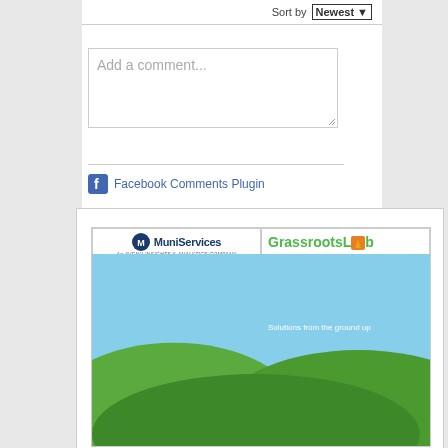Sort by Newest ▼
Add a comment...
Facebook Comments Plugin
[Figure (screenshot): MuniServices - An Avenu Insights & Analytics Company ad showing Community Organization Local Agency Partner]
[Figure (screenshot): GrassrootsLab - Solutions from the ground up advertisement with green hills and sky]
[Figure (screenshot): SouthTech Systems advertisement]
[Figure (screenshot): OpenGov - How does your government stack up? advertisement]